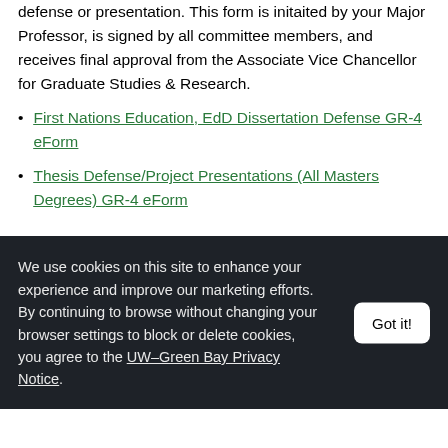defense or presentation. This form is initaited by your Major Professor, is signed by all committee members, and receives final approval from the Associate Vice Chancellor for Graduate Studies & Research.
First Nations Education, EdD Dissertation Defense GR-4 eForm
Thesis Defense/Project Presentations (All Masters Degrees) GR-4 eForm
We use cookies on this site to enhance your experience and improve our marketing efforts. By continuing to browse without changing your browser settings to block or delete cookies, you agree to the UW–Green Bay Privacy Notice.